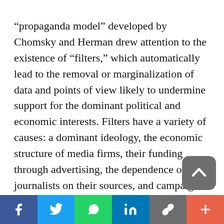“propaganda model” developed by Chomsky and Herman drew attention to the existence of “filters,” which automatically lead to the removal or marginalization of data and points of view likely to undermine support for the dominant political and economic interests. Filters have a variety of causes: a dominant ideology, the economic structure of media firms, their funding through advertising, the dependence of journalists on their sources, and campaigns to intimidate the press. “Manufacturing consent” is the fruit of the constraints that influence the way in which journalists select